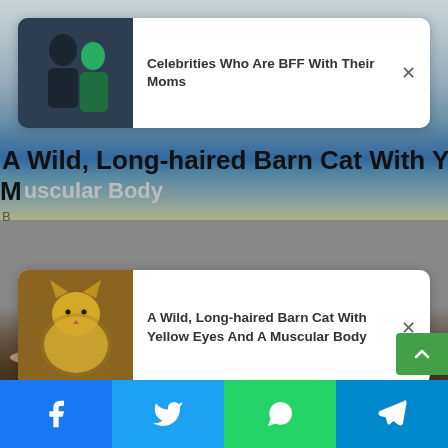[Figure (screenshot): First notification card: celebrity photo (couple embracing) with text 'Celebrities Who Are BFF With Their Moms' and X close button]
A Wild, Long-haired Barn Cat With Yellow Eyes And A Muscular Body
B
[Figure (screenshot): Second notification card: long-haired orange barn cat photo with text 'A Wild, Long-haired Barn Cat With Yellow Eyes And A Muscular Body' and X close button]
[Figure (photo): Group of people on a beach holding a large oarfish, with boats visible in the ocean background behind them]
[Figure (infographic): Social sharing bar at bottom with Facebook, Twitter, WhatsApp, and Telegram buttons]